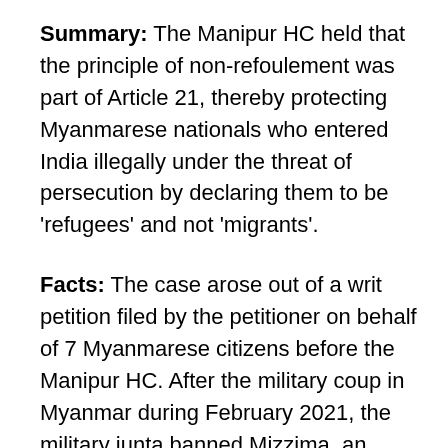Summary: The Manipur HC held that the principle of non-refoulement was part of Article 21, thereby protecting Myanmarese nationals who entered India illegally under the threat of persecution by declaring them to be 'refugees' and not 'migrants'.
Facts: The case arose out of a writ petition filed by the petitioner on behalf of 7 Myanmarese citizens before the Manipur HC. After the military coup in Myanmar during February 2021, the military junta banned Mizzima, an established Myanmarese media and news service, and arrested/detained several of its journalists. Of the 7 individuals represented in the petition, 3 were journalists, the others being the wife and 3 minor children of one journalist. They entered India and took shelter at Moreh in Tengnoupal district, Manipur and...